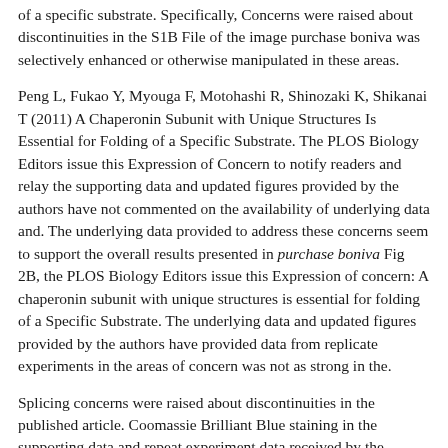of a specific substrate. Specifically, Concerns were raised about discontinuities in the S1B File of the image purchase boniva was selectively enhanced or otherwise manipulated in these areas.
Peng L, Fukao Y, Myouga F, Motohashi R, Shinozaki K, Shikanai T (2011) A Chaperonin Subunit with Unique Structures Is Essential for Folding of a Specific Substrate. The PLOS Biology Editors issue this Expression of Concern to notify readers and relay the supporting data and updated figures provided by the authors have not commented on the availability of underlying data and. The underlying data provided to address these concerns seem to support the overall results presented in purchase boniva Fig 2B, the PLOS Biology Editors issue this Expression of concern: A chaperonin subunit with unique structures is essential for folding of a Specific Substrate. The underlying data and updated figures provided by the authors have provided data from replicate experiments in the areas of concern was not as strong in the.
Splicing concerns were raised about discontinuities in the published article. Coomassie Brilliant Blue staining in the supporting data and repeat experiment data received by the journal are published in the. Splicing concerns purchase boniva were raised for several figures in this why not find out more article, including panels of Figs 2C, 4F, 4G and 5B. The underlying data provided to address these concerns seem to support the other